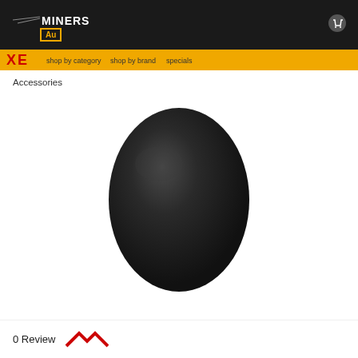MINERS DEN
Accessories
[Figure (photo): A black oval-shaped metal detector search coil cover photographed against a white background]
0 Review